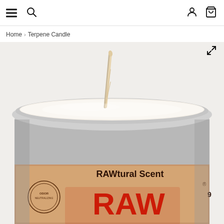Navigation bar with hamburger menu, search icon, user icon, and cart icon
Home > Terpene Candle
[Figure (photo): Close-up photo of a RAW brand 'RAWtural Scent' candle in a silver metal tin, showing the white wax surface and a twisted paper/hemp wick. The tin has a kraft paper label with red RAW branding and text reading 'RAWtural Scent'. The image is cropped showing mainly the top of the candle and partial label.]